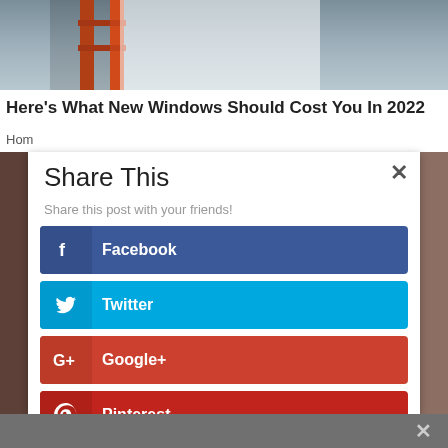[Figure (photo): Background photo showing a person on an orange ladder against a white surface]
Here's What New Windows Should Cost You In 2022
Hom
[Figure (screenshot): Share This modal dialog with social media share buttons: Facebook, Twitter, Google+, Pinterest, reddit, LinkedIn]